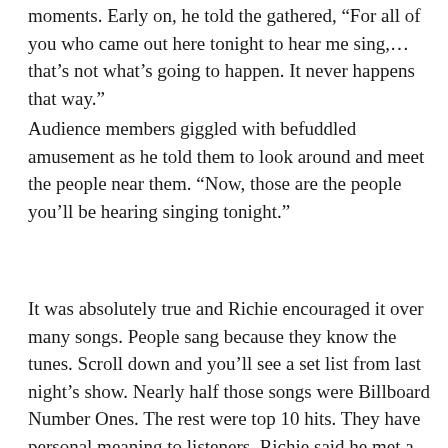moments. Early on, he told the gathered, “For all of you who came out here tonight to hear me sing,…that’s not what’s going to happen. It never happens that way.”
Audience members giggled with befuddled amusement as he told them to look around and meet the people near them. “Now, those are the people you’ll be hearing singing tonight.”
It was absolutely true and Richie encouraged it over many songs. People sang because they know the tunes. Scroll down and you’ll see a set list from last night’s show. Nearly half those songs were Billboard Number Ones. The rest were top 10 hits. They have personal meaning to listeners. Richie said he met a fan backstage